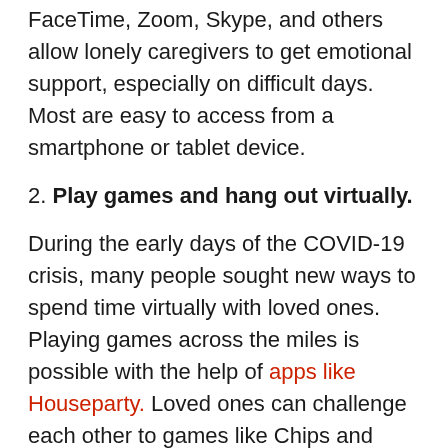FaceTime, Zoom, Skype, and others allow lonely caregivers to get emotional support, especially on difficult days. Most are easy to access from a smartphone or tablet device.
2. Play games and hang out virtually.
During the early days of the COVID-19 crisis, many people sought new ways to spend time virtually with loved ones. Playing games across the miles is possible with the help of apps like Houseparty. Loved ones can challenge each other to games like Chips and Guac, Heads Up!, and Pictionary.
3. Talk via social media channels like Facebook